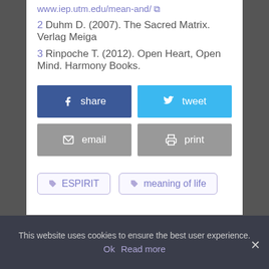www.iep.utm.edu/mean-and/
2 Duhm D. (2007). The Sacred Matrix. Verlag Meiga
3 Rinpoche T. (2012). Open Heart, Open Mind. Harmony Books.
[Figure (other): Social share buttons: Facebook share (blue), Twitter tweet (light blue), email (grey), print (grey)]
[Figure (other): Tag buttons: ESPIRIT and meaning of life with purple tag icons and borders]
This website uses cookies to ensure the best user experience.
Ok  Read more